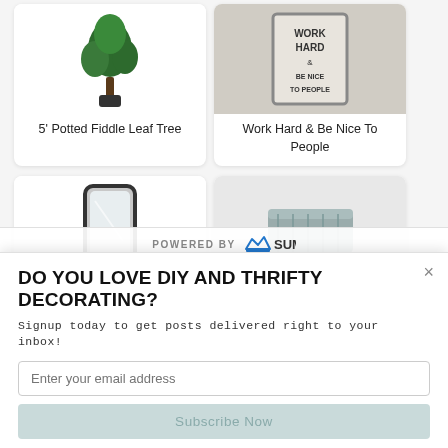[Figure (screenshot): Product grid showing two rows of home decor items. Top row (partially visible): 5' Potted Fiddle Leaf Tree and Work Hard & Be Nice To People wall art. Bottom row: rectangular mirror and grey throw blanket.]
5' Potted Fiddle Leaf Tree
Work Hard & Be Nice To People
POWERED BY SUMO
DO YOU LOVE DIY AND THRIFTY DECORATING?
Signup today to get posts delivered right to your inbox!
Enter your email address
Subscribe Now